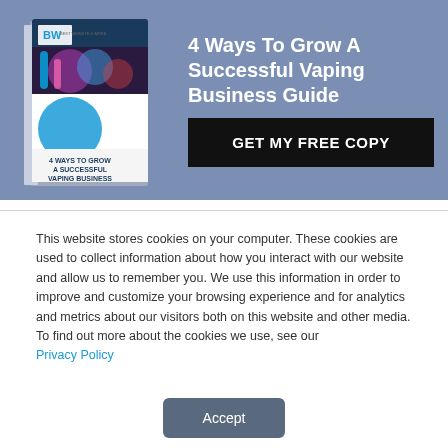[Figure (illustration): Book cover showing '4 Ways To Grow A Successful Vaping Business' guide with BW logo and colorful vaping imagery]
4 Ways To Grow A Successful Vaping Business Guide
GET MY FREE COPY
This website stores cookies on your computer. These cookies are used to collect information about how you interact with our website and allow us to remember you. We use this information in order to improve and customize your browsing experience and for analytics and metrics about our visitors both on this website and other media. To find out more about the cookies we use, see our Privacy Policy
Accept